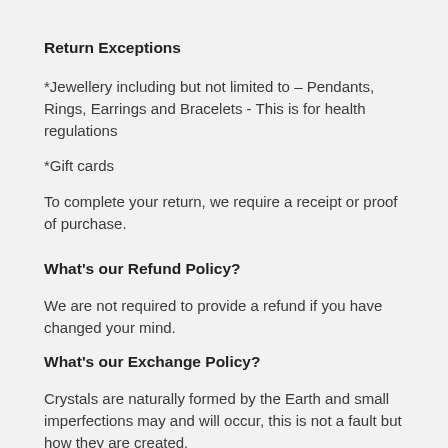Return Exceptions
*Jewellery including but not limited to – Pendants, Rings, Earrings and Bracelets - This is for health regulations
*Gift cards
To complete your return, we require a receipt or proof of purchase.
What’s our Refund Policy?
We are not required to provide a refund if you have changed your mind.
What’s our Exchange Policy?
Crystals are naturally formed by the Earth and small imperfections may and will occur, this is not a fault but how they are created.